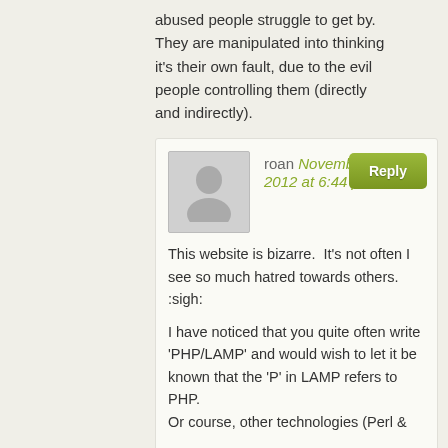abused people struggle to get by. They are manipulated into thinking it's their own fault, due to the evil people controlling them (directly and indirectly).
roan November 24, 2012 at 6:44 pm

This website is bizarre. It's not often I see so much hatred towards others. :sigh:

I have noticed that you quite often write 'PHP/LAMP' and would wish to let it be known that the 'P' in LAMP refers to PHP.
Or course, other technologies (Perl &